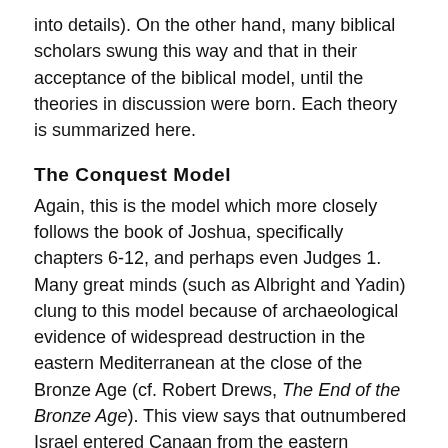into details). On the other hand, many biblical scholars swung this way and that in their acceptance of the biblical model, until the theories in discussion were born. Each theory is summarized here.
The Conquest Model
Again, this is the model which more closely follows the book of Joshua, specifically chapters 6-12, and perhaps even Judges 1. Many great minds (such as Albright and Yadin) clung to this model because of archaeological evidence of widespread destruction in the eastern Mediterranean at the close of the Bronze Age (cf. Robert Drews, The End of the Bronze Age). This view says that outnumbered Israel entered Canaan from the eastern highlands and took control of the land. This view, according to Lawrence Stager of Harvard University, has three core assumptions: